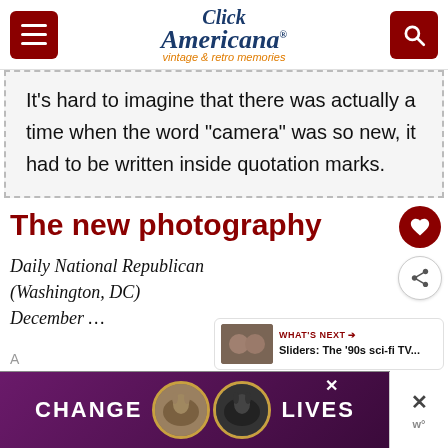Click Americana — vintage & retro memories
It’s hard to imagine that there was actually a time when the word “camera” was so new, it had to be written inside quotation marks.
The new photography
Daily National Republican (Washington, DC) December …
[Figure (screenshot): WHAT'S NEXT arrow — Sliders: The '90s sci-fi TV... with thumbnail image of two men]
[Figure (photo): Advertisement banner: CHANGE LIVES with two cat photos on purple background]